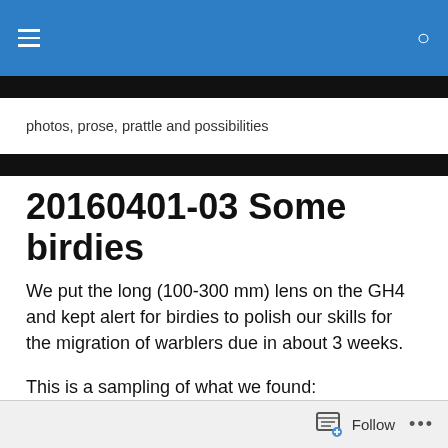photos, prose, prattle and possibilities
20160401-03 Some birdies
We put the long (100-300 mm) lens on the GH4 and kept alert for birdies to polish our skills for the migration of warblers due in about 3 weeks.
This is a sampling of what we found:
A Red Tailed Hawk on top of a high telephone pole on Hwy
Follow